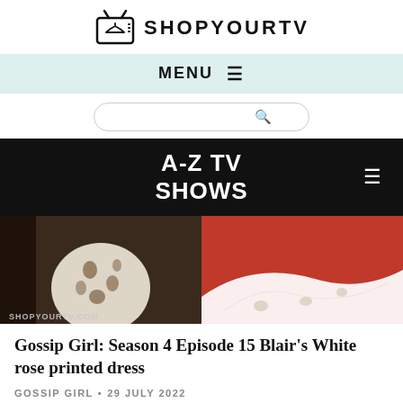[Figure (logo): ShopYourTV logo with TV icon and text SHOPYOURTV]
MENU ≡
[Figure (screenshot): Search bar input field with search icon]
A-Z TV SHOWS
[Figure (photo): Two-panel image showing a white rose printed dress on left and a white lace detail on red background on right, with watermark SHOPYOURTV.COM]
Gossip Girl: Season 4 Episode 15 Blair's White rose printed dress
GOSSIP GIRL • 29 JULY 2022